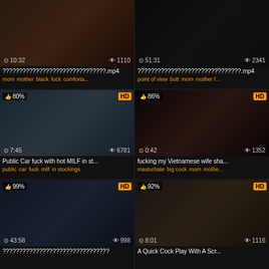[Figure (screenshot): Video thumbnail grid showing 6 adult video thumbnails with metadata]
???????????????????????????????.mp4
mom mother black fuck comforta...
???????????????????????????????.mp4
point of view butt mom mother f...
Public Car fuck with hot MILF in st...
public car fuck milf in stockings
fucking my Vietnamese wife sha...
masturbate big cock mom mothe...
????????????????????????????????
A Quick Cock Play With A Scr...